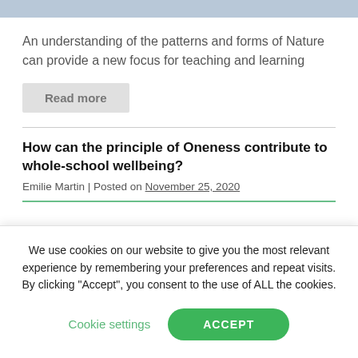An understanding of the patterns and forms of Nature can provide a new focus for teaching and learning
Read more
How can the principle of Oneness contribute to whole-school wellbeing?
Emilie Martin | Posted on November 25, 2020
We use cookies on our website to give you the most relevant experience by remembering your preferences and repeat visits. By clicking “Accept”, you consent to the use of ALL the cookies.
Cookie settings
ACCEPT